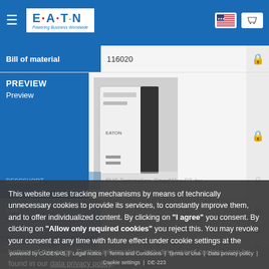[Figure (screenshot): Eaton website navigation bar with hamburger menu, Eaton logo (Powering Business Worldwide), US flag icon, and cart icon on blue background]
| Field | Value |  |
| --- | --- | --- |
| Bill of material | 116020 | 🔒 |
| PREVIEW / Preview | [product image] | 🔒 |
This website uses tracking mechanisms by means of technically unnecessary cookies to provide its services, to constantly improve them, and to offer individualized content. By clicking on "I agree" you consent. By clicking on "Allow only required cookies" you reject this. You may revoke your consent at any time with future effect under cookie settings at the bottom of this page. Further information, including use of cookies, can be found in our data privacy policy.
Allow only required cookies | I agree
powered by CADENAS | Legal notice | Terms and Conditions | Terms of Use | Data privacy policy | Cookie settings | DE-223